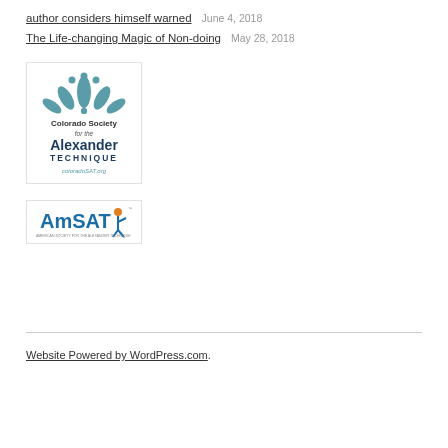author considers himself warned    June 4, 2018
The Life-changing Magic of Non-doing    May 28, 2018
[Figure (logo): Colorado Society for the Alexander Technique logo with lotus flower graphic and coloradoSAT.org URL]
[Figure (logo): AmSAT (American Society for the Alexander Technique) logo with stylized figure graphic]
Website Powered by WordPress.com.